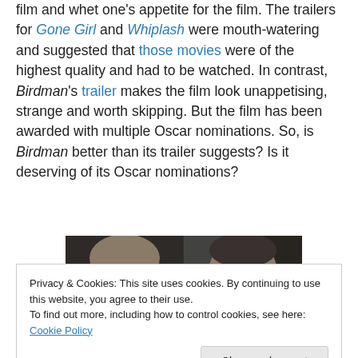film and whet one's appetite for the film. The trailers for Gone Girl and Whiplash were mouth-watering and suggested that those movies were of the highest quality and had to be watched. In contrast, Birdman's trailer makes the film look unappetising, strange and worth skipping. But the film has been awarded with multiple Oscar nominations. So, is Birdman better than its trailer suggests? Is it deserving of its Oscar nominations?
[Figure (photo): Two men facing each other in a dark scene — left: bald middle-aged man, right: man wearing glasses. Film still from Birdman.]
Privacy & Cookies: This site uses cookies. By continuing to use this website, you agree to their use. To find out more, including how to control cookies, see here: Cookie Policy
Zach Galifianakis (Jake) reassuring Riggan